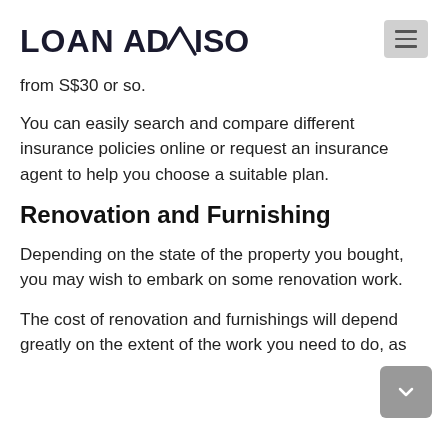LOANADVISOR
from S$30 or so.
You can easily search and compare different insurance policies online or request an insurance agent to help you choose a suitable plan.
Renovation and Furnishing
Depending on the state of the property you bought, you may wish to embark on some renovation work.
The cost of renovation and furnishings will depend greatly on the extent of the work you need to do, as